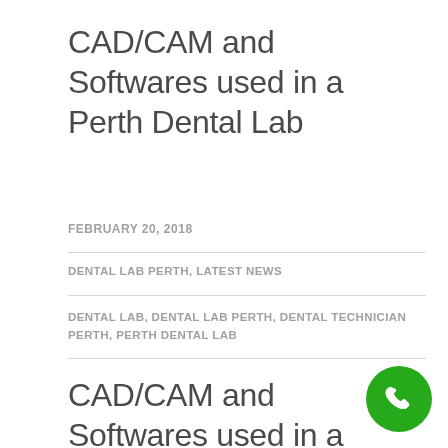CAD/CAM and Softwares used in a Perth Dental Lab
FEBRUARY 20, 2018
DENTAL LAB PERTH, LATEST NEWS
DENTAL LAB, DENTAL LAB PERTH, DENTAL TECHNICIAN PERTH, PERTH DENTAL LAB
CAD/CAM and Softwares used in a Perth Dental Lab
[Figure (other): Green circular phone/call button icon]